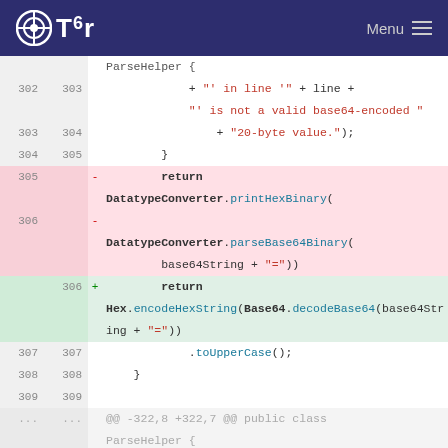Tor — Menu
[Figure (screenshot): Code diff view showing Java code changes in ParseHelper class. Lines 302-309 and 322+ shown. Deleted lines 305-306 replace DatatypeConverter.printHexBinary(DatatypeConverter.parseBase64Binary(base64String + "=")). Added line 306 replaces with Hex.encodeHexString(Base64.decodeBase64(base64String + "=")). Context lines show closing brace, toUpperCase(), and continuation of diff at line 322.]